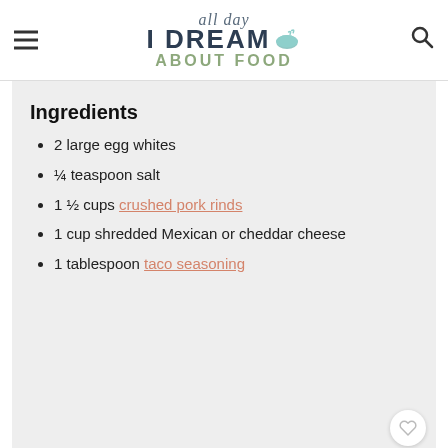all day I DREAM ABOUT FOOD
Ingredients
2 large egg whites
¼ teaspoon salt
1 ½ cups crushed pork rinds
1 cup shredded Mexican or cheddar cheese
1 tablespoon taco seasoning